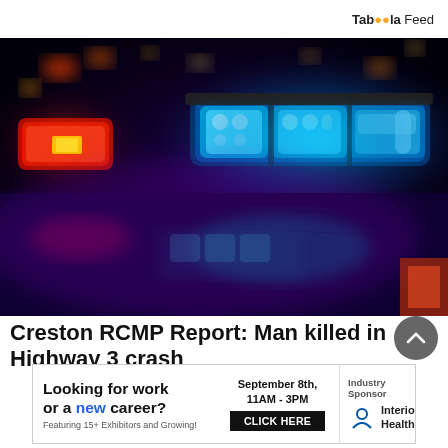Taboola Feed
[Figure (photo): Close-up of police car emergency lights glowing blue and red against a dark night background, with reflections on the car hood.]
Creston RCMP Report: Man killed in Highway 3 crash
[Figure (infographic): Advertisement banner: Looking for work or a new career? Featuring 15+ Exhibitors and Growing! September 8th, 11AM-3PM CLICK HERE. Industry Sponsor: Interior Health.]